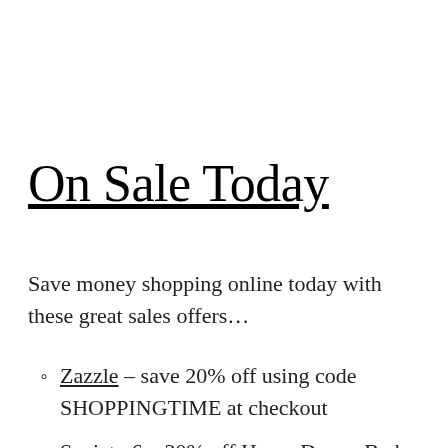On Sale Today
Save money shopping online today with these great sales offers…
Zazzle – save 20% off using code SHOPPINGTIME at checkout
Society 6 – 30% off Home Decor, Bed,